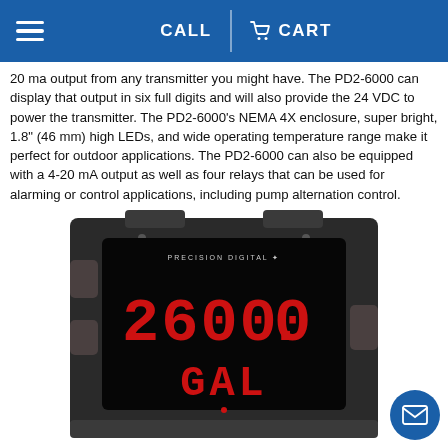CALL | CART
20 ma output from any transmitter you might have. The PD2-6000 can display that output in six full digits and will also provide the 24 VDC to power the transmitter. The PD2-6000's NEMA 4X enclosure, super bright, 1.8" (46 mm) high LEDs, and wide operating temperature range make it perfect for outdoor applications. The PD2-6000 can also be equipped with a 4-20 mA output as well as four relays that can be used for alarming or control applications, including pump alternation control.
[Figure (photo): Precision Digital PD2-6000 large LED display meter showing '26000.0' and 'GAL' in red digits on a black panel, housed in a dark enclosure with mounting brackets.]